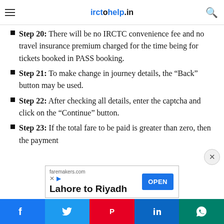irctohelp.in
be displayed on the screen.
Step 20: There will be no IRCTC convenience fee and no travel insurance premium charged for the time being for tickets booked in PASS booking.
Step 21: To make change in journey details, the "Back" button may be used.
Step 22: After checking all details, enter the captcha and click on the "Continue" button.
Step 23: If the total fare to be paid is greater than zero, then the payment